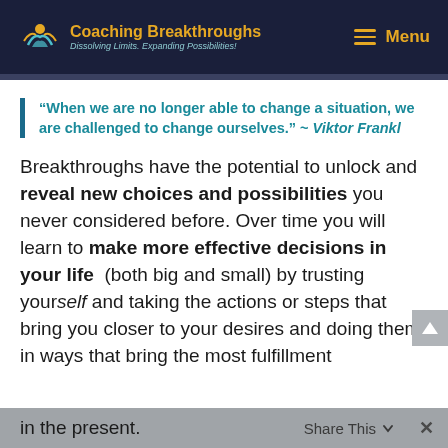Coaching Breakthroughs — Dissolving Limits. Expanding Possibilities! — Menu
“When we are no longer able to change a situation, we are challenged to change ourselves.” ~ Viktor Frankl
Breakthroughs have the potential to unlock and reveal new choices and possibilities you never considered before. Over time you will learn to make more effective decisions in your life (both big and small) by trusting yourself and taking the actions or steps that bring you closer to your desires and doing them in ways that bring the most fulfillment in the present.
in the present.   Share This   ×